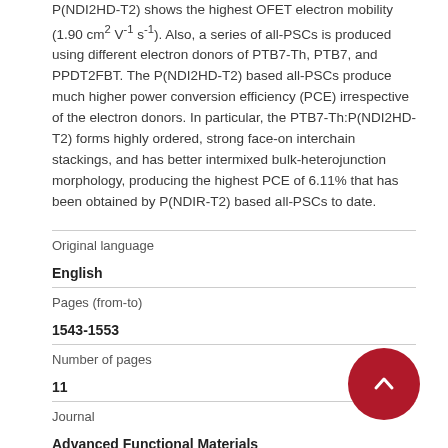P(NDI2HD-T2) shows the highest OFET electron mobility (1.90 cm² V⁻¹ s⁻¹). Also, a series of all-PSCs is produced using different electron donors of PTB7-Th, PTB7, and PPDT2FBT. The P(NDI2HD-T2) based all-PSCs produce much higher power conversion efficiency (PCE) irrespective of the electron donors. In particular, the PTB7-Th:P(NDI2HD-T2) forms highly ordered, strong face-on interchain stackings, and has better intermixed bulk-heterojunction morphology, producing the highest PCE of 6.11% that has been obtained by P(NDIR-T2) based all-PSCs to date.
| Field | Value |
| --- | --- |
| Original language | English |
| Pages (from-to) | 1543-1553 |
| Number of pages | 11 |
| Journal | Advanced Functional Materials |